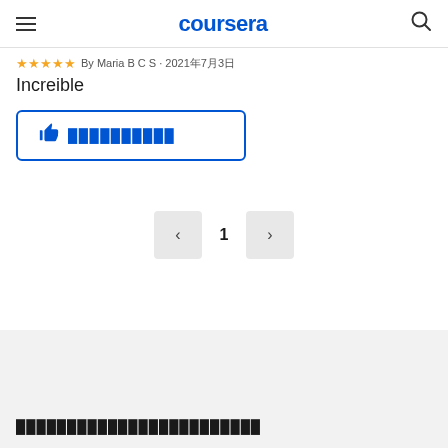coursera
★★★★★ By Maria B C S · 2021年7月3日
Increible
👍 ██████████
< 1 >
████████████████████████